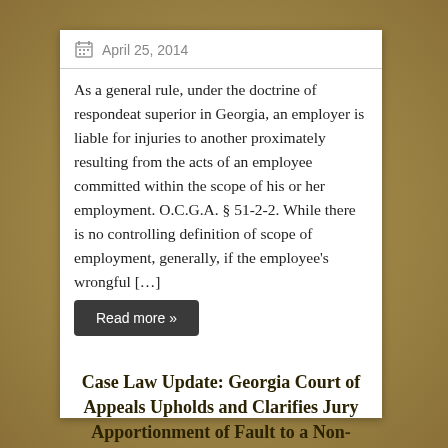April 25, 2014
As a general rule, under the doctrine of respondeat superior in Georgia, an employer is liable for injuries to another proximately resulting from the acts of an employee committed within the scope of his or her employment. O.C.G.A. § 51-2-2. While there is no controlling definition of scope of employment, generally, if the employee's wrongful […]
Read more »
Case Law Update: Georgia Court of Appeals Upholds and Clarifies Jury Apportionment of Fault to a Non-Party